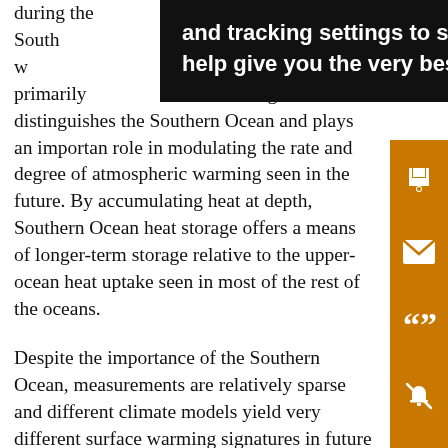during the ... sets the South...'s oceans, w... primarily ...xing distinguishes the Southern Ocean and plays an important role in modulating the rate and degree of atmospheric warming seen in the future. By accumulating heat at depth, Southern Ocean heat storage offers a means of longer-term storage relative to the upper-ocean heat uptake seen in most of the rest of the oceans.
Despite the importance of the Southern Ocean, measurements are relatively sparse and different climate models yield very different surface warming signatures in future climate projections (Fig. 1). The Southern Ocean is not the only region that is highly uncertain; intermodel variability of the Arctic surface warming is even higher